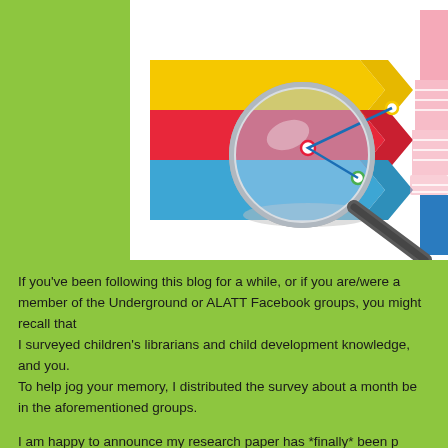[Figure (illustration): Illustration of colorful arrow-shaped progress bars (yellow, red, blue) alongside a magnifying glass with a line chart visible through the lens, and a pink pyramid chart and blue bar chart in the background.]
If you've been following this blog for a while, or if you are/were a member of the Underground or ALATT Facebook groups, you might recall that I surveyed children's librarians and child development knowledge, and you... help jog your memory, I distributed the survey about a month be... in the aforementioned groups.
I am happy to announce my research paper has *finally* been p... published 8 months ago, but got bumped because apparently th...